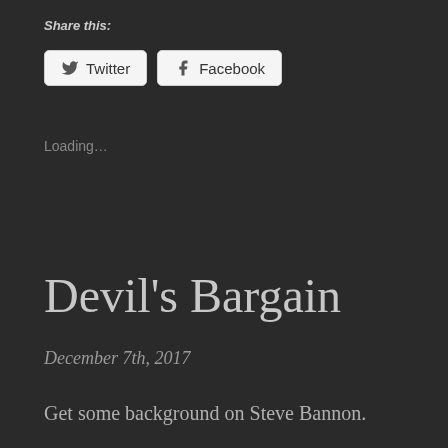Share this:
Twitter  Facebook
Loading...
Devil’s Bargain
December 7th, 2017
Get some background on Steve Bannon.